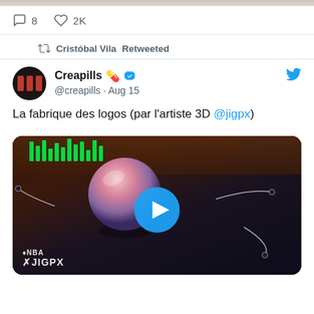[Figure (screenshot): Top partial image strip from a previous tweet]
8  2K
Cristóbal Vila Retweeted
Creapills 💊🔵 @creapills · Aug 15
La fabrique des logos (par l'artiste 3D @jigpx)
[Figure (screenshot): Video thumbnail showing a 3D rendered pink/purple sphere on a dark surface with green LED strips and NBA/JIGPX watermark, with a blue play button overlay]